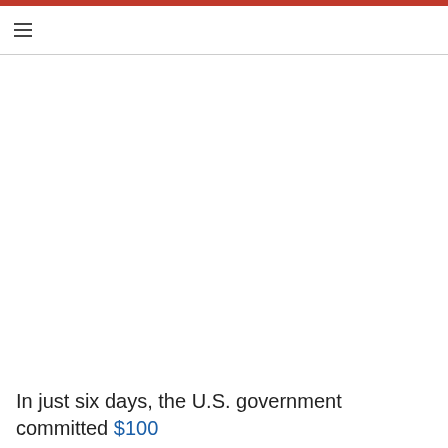≡
In just six days, the U.S. government committed $100